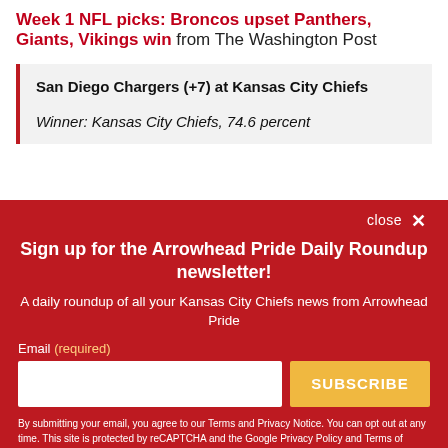Week 1 NFL picks: Broncos upset Panthers, Giants, Vikings win from The Washington Post
San Diego Chargers (+7) at Kansas City Chiefs
Winner: Kansas City Chiefs, 74.6 percent
Sign up for the Arrowhead Pride Daily Roundup newsletter!
A daily roundup of all your Kansas City Chiefs news from Arrowhead Pride
Email (required)
SUBSCRIBE
By submitting your email, you agree to our Terms and Privacy Notice. You can opt out at any time. This site is protected by reCAPTCHA and the Google Privacy Policy and Terms of Service apply.